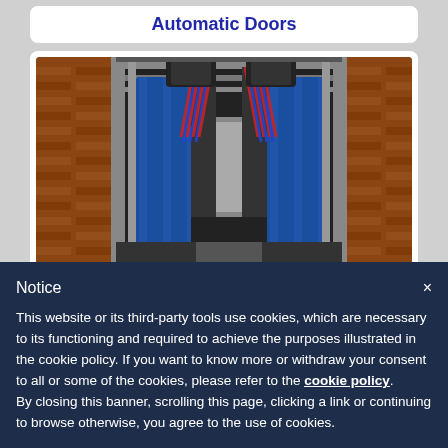Automatic Doors
[Figure (photo): Interior view of a car wash tunnel showing blue and red rotating brushes, metal frame structure, and brick wall exterior visible in the background]
Notice
This website or its third-party tools use cookies, which are necessary to its functioning and required to achieve the purposes illustrated in the cookie policy. If you want to know more or withdraw your consent to all or some of the cookies, please refer to the cookie policy. By closing this banner, scrolling this page, clicking a link or continuing to browse otherwise, you agree to the use of cookies.